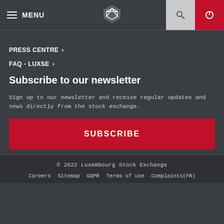MENU
PRESS CENTRE
FAQ - LUXSE
Subscribe to our newsletter
Sign up to our newsletter and receive regular updates and news directly from the stock exchange.
SUBSCRIBE
© 2022 Luxembourg Stock Exchange
Careers   Sitemap   GDPR   Terms of use   Complaints(FR)